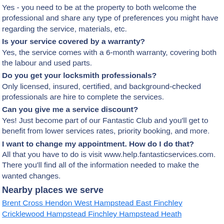Yes - you need to be at the property to both welcome the professional and share any type of preferences you might have regarding the service, materials, etc.
Is your service covered by a warranty?
Yes, the service comes with a 6-month warranty, covering both the labour and used parts.
Do you get your locksmith professionals?
Only licensed, insured, certified, and background-checked professionals are hire to complete the services.
Can you give me a service discount?
Yes! Just become part of our Fantastic Club and you'll get to benefit from lower services rates, priority booking, and more.
I want to change my appointment. How do I do that?
All that you have to do is visit www.help.fantasticservices.com. There you'll find all of the information needed to make the wanted changes.
Nearby places we serve
Brent Cross Hendon West Hampstead East Finchley
Cricklewood Hampstead Finchley Hampstead Heath